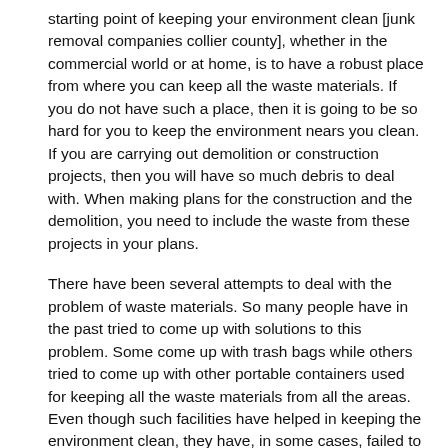starting point of keeping your environment clean [junk removal companies collier county], whether in the commercial world or at home, is to have a robust place from where you can keep all the waste materials. If you do not have such a place, then it is going to be so hard for you to keep the environment nears you clean. If you are carrying out demolition or construction projects, then you will have so much debris to deal with. When making plans for the construction and the demolition, you need to include the waste from these projects in your plans.
There have been several attempts to deal with the problem of waste materials. So many people have in the past tried to come up with solutions to this problem. Some come up with trash bags while others tried to come up with other portable containers used for keeping all the waste materials from all the areas. Even though such facilities have helped in keeping the environment clean, they have, in some cases, failed to do so correctly. For instance, if you are carrying